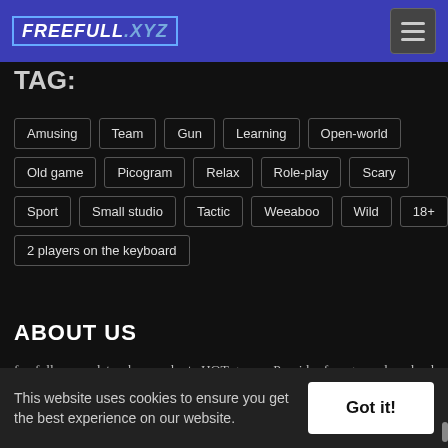FREEFULL.XYZ
TAG:
Amusing
Team
Gun
Learning
Open-world
Old game
Picogram
Relax
Role-play
Scary
Sport
Small studio
Tactic
Weeaboo
Wild
18+
2 players on the keyboard
ABOUT US
freefull.xyz update, share and rate HOT games. Provides free game download link and accompanying instructions to help you experience the best game. read more about free full - xvz
This website uses cookies to ensure you get the best experience on our website.